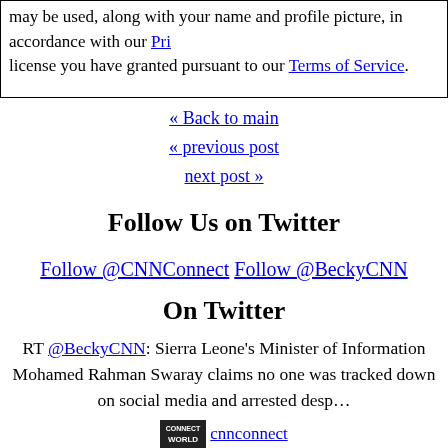may be used, along with your name and profile picture, in accordance with our Pri license you have granted pursuant to our Terms of Service.
« Back to main
« previous post
next post »
Follow Us on Twitter
Follow @CNNConnect
Follow @BeckyCNN
On Twitter
RT @BeckyCNN: Sierra Leone's Minister of Information Mohamed Rahman Swaray claims no one was tracked down on social media and arrested desp…
cnnconnect 6:05 pm ET August 26, 2022 RETWEET See @katie_polglase full report here: